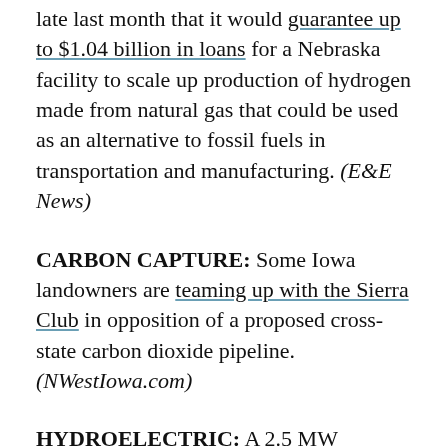late last month that it would guarantee up to $1.04 billion in loans for a Nebraska facility to scale up production of hydrogen made from natural gas that could be used as an alternative to fossil fuels in transportation and manufacturing. (E&E News)
CARBON CAPTURE: Some Iowa landowners are teaming up with the Sierra Club in opposition of a proposed cross-state carbon dioxide pipeline. (NWestIowa.com)
HYDROELECTRIC: A 2.5 MW hydroelectric dam is expected to begin operating early this year at the University of Notre Dame and provide about 7% of the campus' electricity needs. (Notre Dame